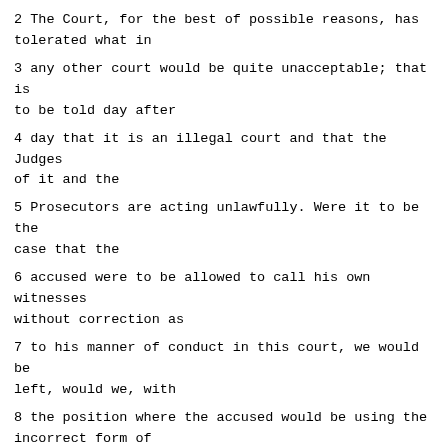2 The Court, for the best of possible reasons, has tolerated what in
3 any other court would be quite unacceptable; that is to be told day after
4 day that it is an illegal court and that the Judges of it and the
5 Prosecutors are acting unlawfully. Were it to be the case that the
6 accused were to be allowed to call his own witnesses without correction as
7 to his manner of conduct in this court, we would be left, would we, with
8 the position where the accused would be using the incorrect form of
9 address to the Court, referring when it suited him to this illegal court
10 and yet expecting his witnesses, who would of course have to take the
11 solemn declaration, to treat the Court with the appropriate respect? It's
12 hard to conceive of a more unsatisfactory way of